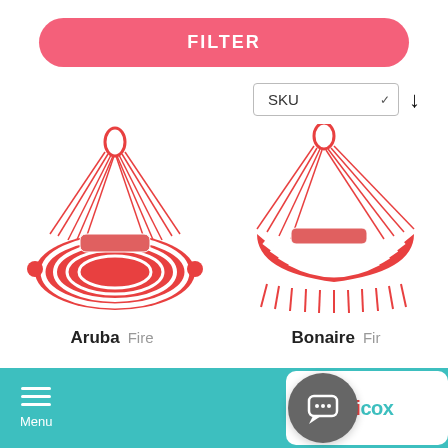FILTER
SKU
[Figure (photo): Red and white striped hammock (Aruba Fire) hung from a hook, no fringe, viewed from the side.]
[Figure (photo): Red and white striped hammock (Bonaire Fire) with fringe along the bottom edge, hung from a hook, viewed from the side.]
Aruba  Fire
Bonaire  Fir…
Menu  [Tropicox logo and chat button]